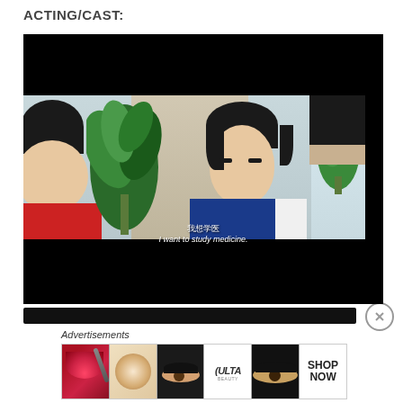ACTING/CAST:
[Figure (screenshot): Video screenshot showing two male actors in a scene. One actor on the right faces the camera wearing a navy/white jacket. A large green plant is between them. Subtitles read '我想学医' and 'I want to study medicine.' The video player has black bars at top and bottom, and a progress bar below.]
Advertisements
[Figure (photo): Ulta Beauty advertisement strip showing: red lips with brush, powder brush on skin, dramatic eye makeup, ULTA Beauty logo, smoky eye makeup, and SHOP NOW text.]